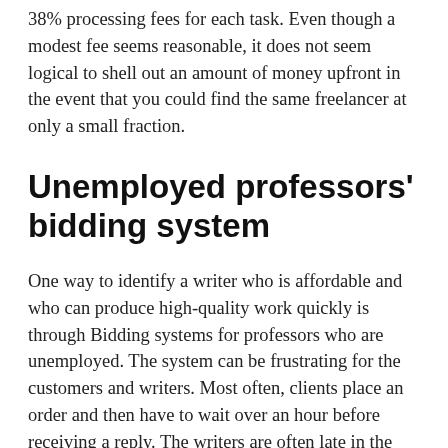38% processing fees for each task. Even though a modest fee seems reasonable, it does not seem logical to shell out an amount of money upfront in the event that you could find the same freelancer at only a small fraction.
Unemployed professors' bidding system
One way to identify a writer who is affordable and who can produce high-quality work quickly is through Bidding systems for professors who are unemployed. The system can be frustrating for the customers and writers. Most often, clients place an order and then have to wait over an hour before receiving a reply. The writers are often late in the delivery of their work. The policy of refunds for unemployed professors is also problematic. While the